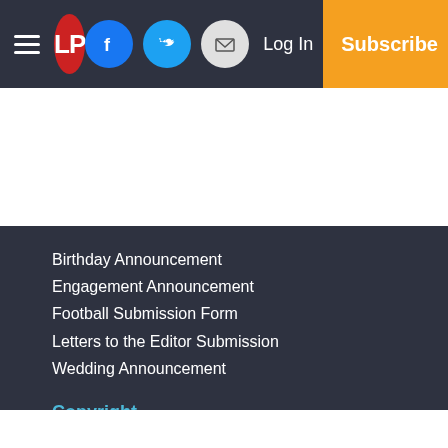LP | Log In | Subscribe | Facebook | Twitter | Email
Birthday Announcement
Engagement Announcement
Football Submission Form
Letters to the Editor Submission
Wedding Announcement
Copyright
© 2022, Leader Publications